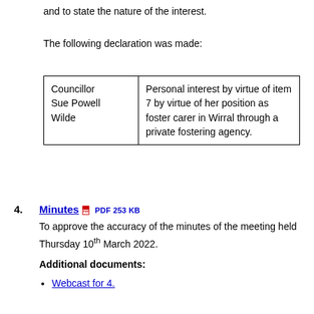and to state the nature of the interest.
The following declaration was made:
| Councillor Sue Powell Wilde | Personal interest by virtue of item 7 by virtue of her position as foster carer in Wirral through a private fostering agency. |
4. Minutes PDF 253 KB
To approve the accuracy of the minutes of the meeting held Thursday 10th March 2022.
Additional documents:
Webcast for 4.